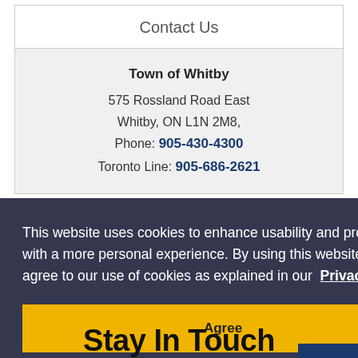Contact Us
Town of Whitby
575 Rossland Road East
Whitby, ON L1N 2M8,
Phone: 905-430-4300
Toronto Line: 905-686-2621
This website uses cookies to enhance usability and provide you with a more personal experience. By using this website, you agree to our use of cookies as explained in our Privacy Policy.
Agree
Stay In Touch